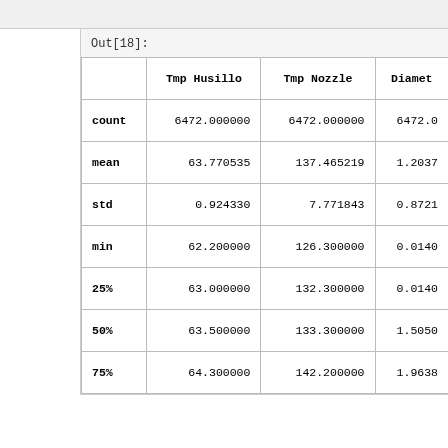Out[18]:
|  | Tmp Husillo | Tmp Nozzle | Diamet |
| --- | --- | --- | --- |
| count | 6472.000000 | 6472.000000 | 6472.0 |
| mean | 63.770535 | 137.465219 | 1.2037 |
| std | 0.924330 | 7.771843 | 0.8721 |
| min | 62.200000 | 126.300000 | 0.0140 |
| 25% | 63.000000 | 132.300000 | 0.0140 |
| 50% | 63.500000 | 133.300000 | 1.5050 |
| 75% | 64.300000 | 142.200000 | 1.9638 |